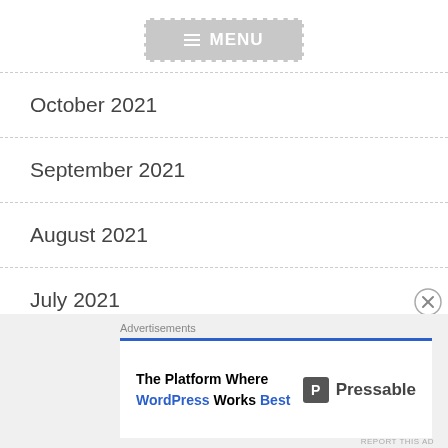[Figure (other): Navigation menu button with hamburger icon and MENU label, grey background with dashed white border]
October 2021
September 2021
August 2021
July 2021
June 2021
May 2021
April 2021
March 2021
Advertisements
The Platform Where WordPress Works Best · Pressable